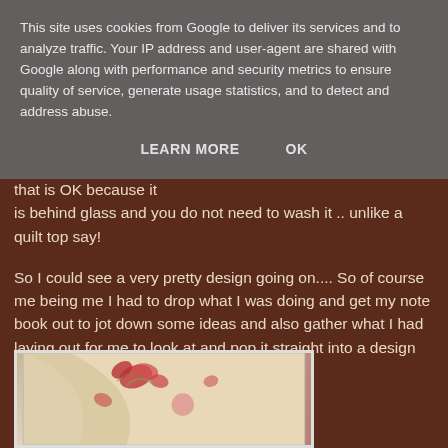This site uses cookies from Google to deliver its services and to analyze traffic. Your IP address and user-agent are shared with Google along with performance and security metrics to ensure quality of service, generate usage statistics, and to detect and address abuse.
LEARN MORE   OK
that is OK because it is behind glass and you do not need to wash it .. unlike a quilt top say!
So I could see a very pretty design going on.... So of course me being me I had to drop what I was doing and get my note book out to jot down some ideas and also gather what I had laying out for me to look at and pop it straight into a design basket with notes attached....
[Figure (photo): Photo of floral fabric with red and pink flowers on a cream/beige background, partially rolled or folded]